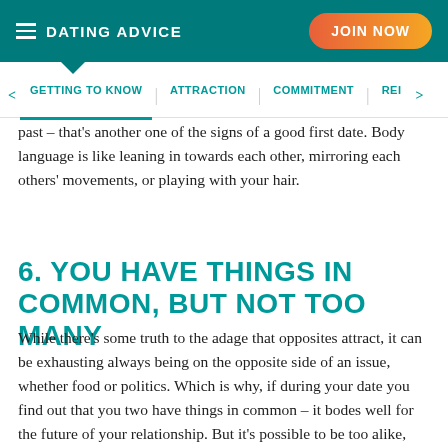DATING ADVICE | JOIN NOW
GETTING TO KNOW | ATTRACTION | COMMITMENT | REI
past – that's another one of the signs of a good first date. Body language is like leaning in towards each other, mirroring each others' movements, or playing with your hair.
6. YOU HAVE THINGS IN COMMON, BUT NOT TOO MANY
While there's some truth to the adage that opposites attract, it can be exhausting always being on the opposite side of an issue, whether food or politics. Which is why, if during your date you find out that you two have things in common – it bodes well for the future of your relationship. But it's possible to be too alike, though – which is why one